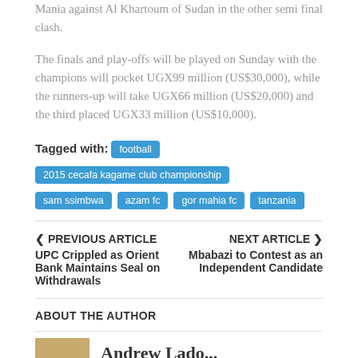Mania against Al Khartoum of Sudan in the other semi final clash.
The finals and play-offs will be played on Sunday with the champions will pocket UGX99 million (US$30,000), while the runners-up will take UGX66 million (US$20,000) and the third placed UGX33 million (US$10,000).
Tagged with: football 2015 cecafa kagame club championship sam ssimbwa azam fc gor mahia fc tanzania
PREVIOUS ARTICLE
UPC Crippled as Orient Bank Maintains Seal on Withdrawals
NEXT ARTICLE
Mbabazi to Contest as an Independent Candidate
ABOUT THE AUTHOR